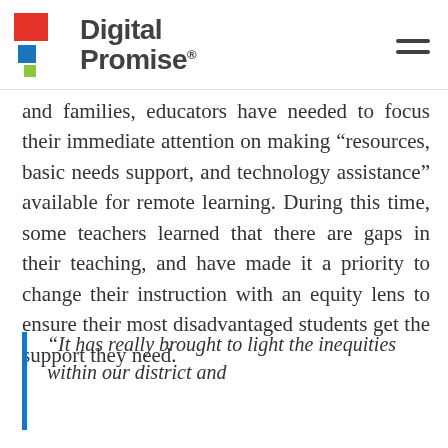[Figure (logo): Digital Promise logo with red and blue abstract icon and bold text 'Digital Promise' with registered trademark symbol]
and families, educators have needed to focus their immediate attention on making “resources, basic needs support, and technology assistance” available for remote learning. During this time, some teachers learned that there are gaps in their teaching, and have made it a priority to change their instruction with an equity lens to ensure their most disadvantaged students get the support they need.
“It has really brought to light the inequities within our district and